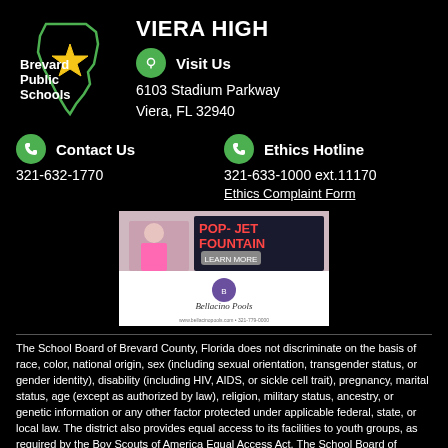[Figure (logo): Brevard Public Schools logo with Florida outline and yellow star]
VIERA HIGH
Visit Us
6103 Stadium Parkway
Viera, FL 32940
Contact Us
321-632-1770
Ethics Hotline
321-633-1000 ext.11170
Ethics Complaint Form
[Figure (photo): Advertisement for Pop-Jet Fountain by Bellacino Pools with child playing in fountain and company logo]
The School Board of Brevard County, Florida does not discriminate on the basis of race, color, national origin, sex (including sexual orientation, transgender status, or gender identity), disability (including HIV, AIDS, or sickle cell trait), pregnancy, marital status, age (except as authorized by law), religion, military status, ancestry, or genetic information or any other factor protected under applicable federal, state, or local law. The district also provides equal access to its facilities to youth groups, as required by the Boy Scouts of America Equal Access Act. The School Board of Brevard County is in compliance with the Americans with Disabilities Act.